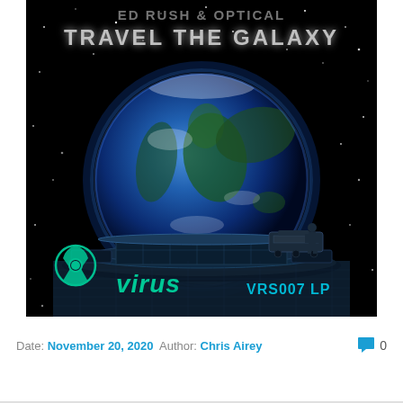[Figure (illustration): Album cover art for 'Ed Rush & Optical - Travel The Galaxy' on Virus Records (VRS007 LP). Dark space background with stars, a large blue Earth globe on a futuristic circular platform, a figure in the lower right, biohazard Virus logo in cyan/teal at bottom left, text 'Ed Rush & Optical' and 'Travel The Galaxy' at top in metallic silver lettering, 'virus' logo and 'VRS007 LP' at bottom.]
Date: November 20, 2020  Author: Chris Airey   💬 0